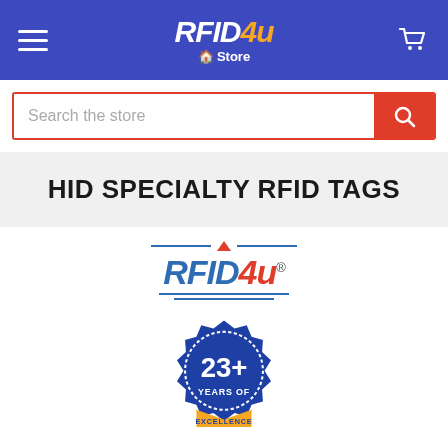[Figure (logo): RFID4u Store header logo on blue navigation bar with hamburger menu and shopping cart icon]
[Figure (screenshot): Search bar with red border, placeholder text 'Search the store' and orange search button with magnifying glass icon]
HID SPECIALTY RFID TAGS
[Figure (logo): RFID4u logo with blue and orange text, decorative horizontal lines above and below, and a blue badge with '23+ YEARS OF EXCELLENCE' text and orange ribbon at bottom]